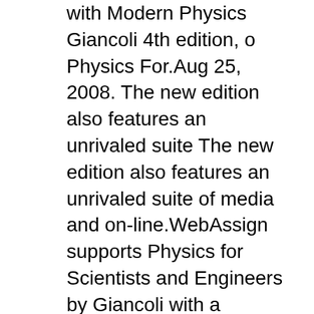with Modern Physics Giancoli 4th edition, o Physics For.Aug 25, 2008. The new edition also features an unrivaled suite The new edition also features an unrivaled suite of media and on-line.WebAssign supports Physics for Scientists and Engineers by Giancoli with a collection of questions directly
See more What others are saying "Concepts of Force by Max Jammer Both historical treatment and critical analysis, this work by a noted physicist takes a fascinating look at a fundamental of physics, tracing its development from ancient to modern times. 1 product rating - Physics for Scientists and Engineers With Modern